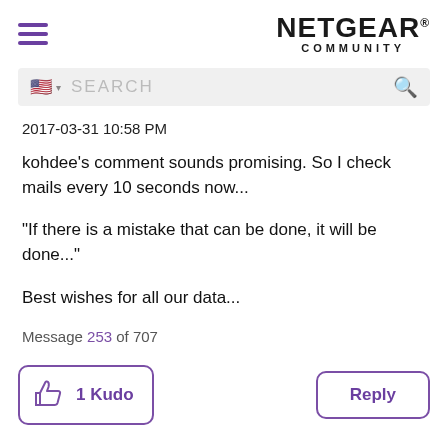[Figure (logo): NETGEAR COMMUNITY logo with hamburger menu icon]
[Figure (screenshot): Search bar with US flag, search placeholder text and magnifier icon]
2017-03-31 10:58 PM
kohdee's comment sounds promising. So I check mails every 10 seconds now...
"If there is a mistake that can be done, it will be done..."
Best wishes for all our data...
Message 253 of 707